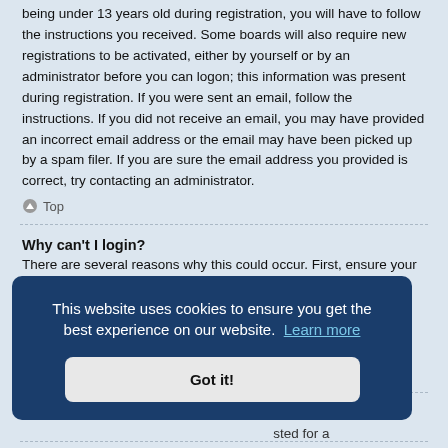being under 13 years old during registration, you will have to follow the instructions you received. Some boards will also require new registrations to be activated, either by yourself or by an administrator before you can logon; this information was present during registration. If you were sent an email, follow the instructions. If you did not receive an email, you may have provided an incorrect email address or the email may have been picked up by a spam filer. If you are sure the email address you provided is correct, try contacting an administrator.
Top
Why can't I login?
There are several reasons why this could occur. First, ensure your username and password are correct. If they are, contact a board administrator to make sure you haven't been banned. It is also possible the website owner has a configuration error on their end, and they would need to fix it.
Top
for some listed for a registering
[Figure (screenshot): Cookie consent banner overlay with dark blue background reading 'This website uses cookies to ensure you get the best experience on our website. Learn more' and a 'Got it!' button.]